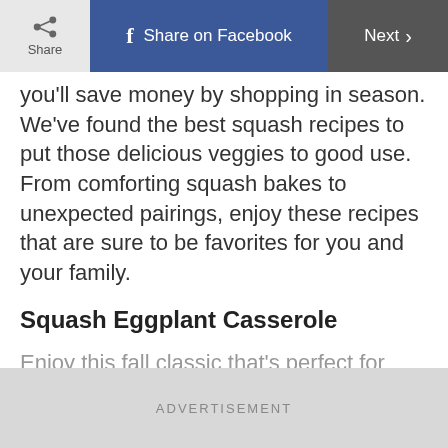Share | Share on Facebook | Next
you'll save money by shopping in season. We've found the best squash recipes to put those delicious veggies to good use. From comforting squash bakes to unexpected pairings, enjoy these recipes that are sure to be favorites for you and your family.
Squash Eggplant Casserole
Enjoy this fall classic that's perfect for make-ahead weeknight meals. Fresh squash and healthy eggplant make it a perfect fall favorite.
ADVERTISEMENT